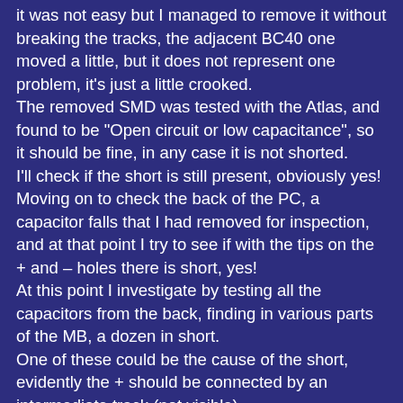it was not easy but I managed to remove it without breaking the tracks, the adjacent BC40 one moved a little, but it does not represent one problem, it's just a little crooked. The removed SMD was tested with the Atlas, and found to be "Open circuit or low capacitance", so it should be fine, in any case it is not shorted. I'll check if the short is still present, obviously yes! Moving on to check the back of the PC, a capacitor falls that I had removed for inspection, and at that point I try to see if with the tips on the + and – holes there is short, yes! At this point I investigate by testing all the capacitors from the back, finding in various parts of the MB, a dozen in short. One of these could be the cause of the short, evidently the + should be connected by an intermediate track (not visible). So instead of removing the other SMD, I would opt for electrolytic removal and checking, if I was lucky and found one shorted, I could replace it having solved (maybe ...). These are precisely these, from 1000uF 10V: EC28 EC36